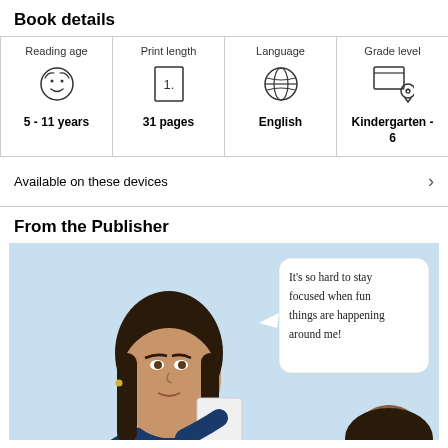Book details
| Reading age | Print length | Language | Grade level |
| --- | --- | --- | --- |
| 5 - 11 years | 31 pages | English | Kindergarten - 6 |
Available on these devices
From the Publisher
[Figure (illustration): Illustration of a woman in a blue jacket holding a paper, and a child. Speech bubble reads: It's so hard to stay focused when fun things are happening around me!]